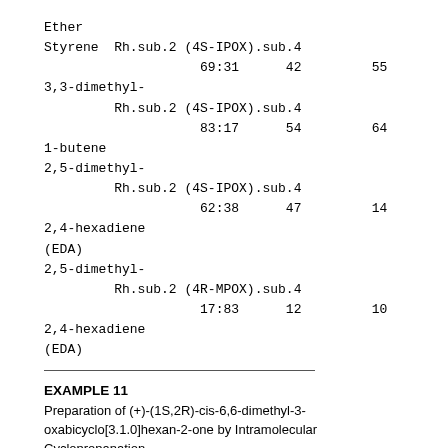| Ether |  |  |  |
| Styrene  Rh.sub.2 (4S-IPOX).sub.4 |  |  |  |
|  | 69:31 | 42 | 55 |
| 3,3-dimethyl- |  |  |  |
|  | Rh.sub.2 (4S-IPOX).sub.4 |  |  |
|  | 83:17 | 54 | 64 |
| 1-butene |  |  |  |
| 2,5-dimethyl- |  |  |  |
|  | Rh.sub.2 (4S-IPOX).sub.4 |  |  |
|  | 62:38 | 47 | 14 |
| 2,4-hexadiene |  |  |  |
| (EDA) |  |  |  |
| 2,5-dimethyl- |  |  |  |
|  | Rh.sub.2 (4R-MPOX).sub.4 |  |  |
|  | 17:83 | 12 | 10 |
| 2,4-hexadiene |  |  |  |
| (EDA) |  |  |  |
EXAMPLE 11
Preparation of (+)-(1S,2R)-cis-6,6-dimethyl-3-oxabicyclo[3.1.0]hexan-2-one by Intramolecular Cyclopropanation